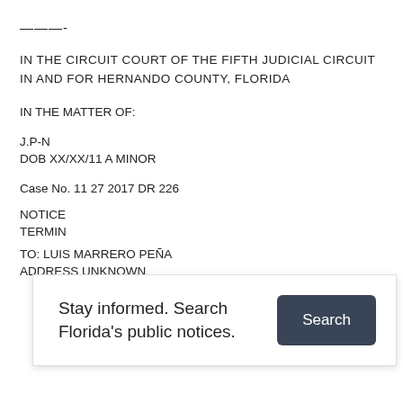———-
IN THE CIRCUIT COURT OF THE FIFTH JUDICIAL CIRCUIT IN AND FOR HERNANDO COUNTY, FLORIDA
IN THE MATTER OF:
J.P-N
DOB XX/XX/11 A MINOR
Case No. 11 27 2017 DR 226
NOTICE
TERMIN
TO: LUIS MARRERO PEÑA
ADDRESS UNKNOWN
[Figure (screenshot): Popup overlay with text 'Stay informed. Search Florida's public notices.' and a dark Search button]